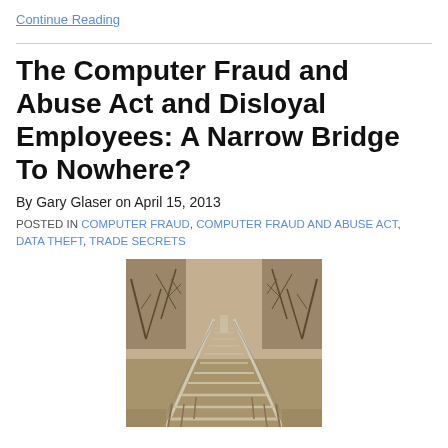Continue Reading
The Computer Fraud and Abuse Act and Disloyal Employees: A Narrow Bridge To Nowhere?
By Gary Glaser on April 15, 2013
POSTED IN COMPUTER FRAUD, COMPUTER FRAUD AND ABUSE ACT, DATA THEFT, TRADE SECRETS
[Figure (photo): A narrow, old wooden bridge or boardwalk leading through dry brush and bare trees, photographed from a low angle looking down its length.]